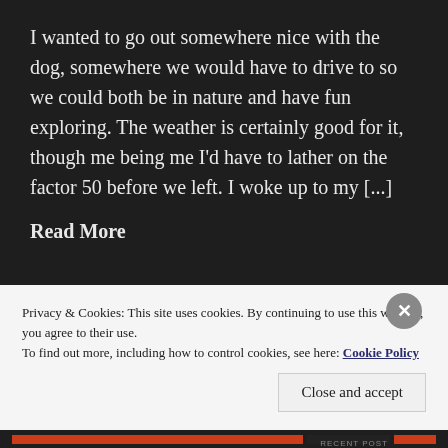I wanted to go out somewhere nice with the dog, somewhere we would have to drive to so we could both be in nature and have fun exploring. The weather is certainly good for it, though me being me I'd have to lather on the factor 50 before we left. I woke up to my [...]
Read More
Privacy & Cookies: This site uses cookies. By continuing to use this website, you agree to their use.
To find out more, including how to control cookies, see here: Cookie Policy